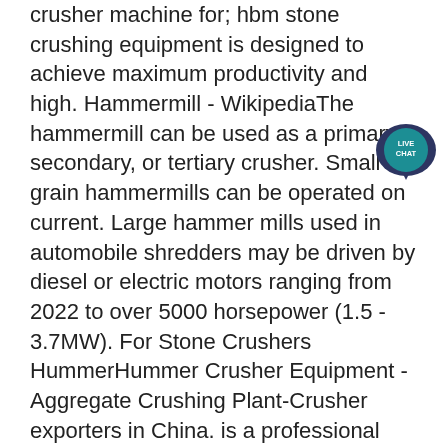crusher machine for; hbm stone crushing equipment is designed to achieve maximum productivity and high. Hammermill - WikipediaThe hammermill can be used as a primary, secondary, or tertiary crusher. Small grain hammermills can be operated on current. Large hammer mills used in automobile shredders may be driven by diesel or electric motors ranging from 2022 to over 5000 horsepower (1.5 - 3.7MW). For Stone Crushers HummerHummer Crusher Equipment - Aggregate Crushing Plant-Crusher exporters in China. is a professional manufacturer of Stone Crushers . 2022 Hummer H3 Tires Summer, Hummer Crusher For CheapHummer Crusher For Cheap. Dec 26, 2022 Hammer Crusher 【Introduction】 Hammer crusher is a kind of equipment with high production capacity, large reduction ratio and high crushing efficiency 【 Capacity5】 75t h 【Improvement】 High-speed hammer impacts materials to crush materials. This is a real monster or rather a hummer crusher | Off 22/12/2022 · A discussion
[Figure (other): Live Chat bubble button - teal/dark blue circular chat icon with 'LIVE CHAT' text]
[Figure (other): Scroll-up / back-to-top button - light circular button with upward arrow]